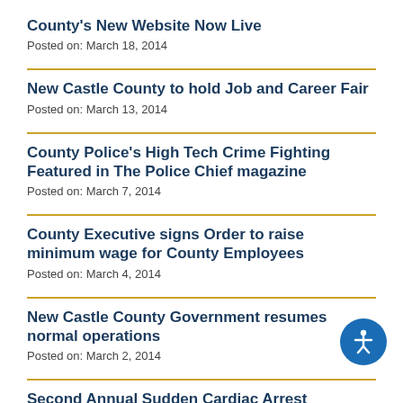County's New Website Now Live
Posted on: March 18, 2014
New Castle County to hold Job and Career Fair
Posted on: March 13, 2014
County Police's High Tech Crime Fighting Featured in The Police Chief magazine
Posted on: March 7, 2014
County Executive signs Order to raise minimum wage for County Employees
Posted on: March 4, 2014
New Castle County Government resumes normal operations
Posted on: March 2, 2014
Second Annual Sudden Cardiac Arrest